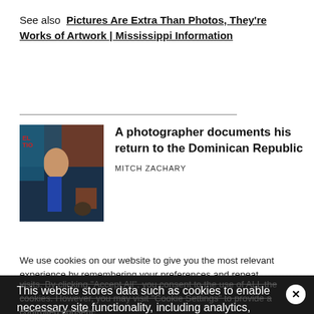See also  Pictures Are Extra Than Photos, They're Works of Artwork | Mississippi Information
[Figure (photo): A person sitting in a doorway or street scene, appears to be in a tropical/Caribbean setting. Dark, colorful background with blues and reds.]
A photographer documents his return to the Dominican Republic
MITCH ZACHARY
We use cookies on our website to give you the most relevant experience by remembering your preferences and repeat visits. By clicking "Accept All", you consent to the use of ALL the cookies. However, you may visit "Cookie Settings" to provide a controlled consent.
This website stores data such as cookies to enable necessary site functionality, including analytics, targeting, and personalization. By remaining on this website you indicate your consent Cookie Policy